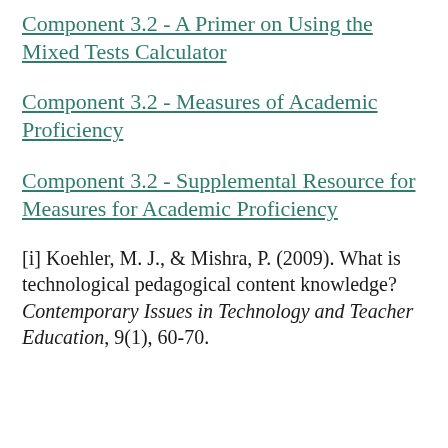Component 3.2 - A Primer on Using the Mixed Tests Calculator
Component 3.2 - Measures of Academic Proficiency
Component 3.2 - Supplemental Resource for Measures for Academic Proficiency
[i] Koehler, M. J., & Mishra, P. (2009). What is technological pedagogical content knowledge? Contemporary Issues in Technology and Teacher Education, 9(1), 60-70.